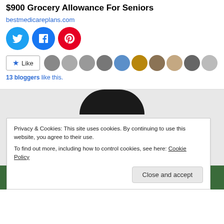$900 Grocery Allowance For Seniors
bestmedicareplans.com
[Figure (illustration): Three social share buttons: Twitter (blue bird), Facebook (blue f), Pinterest (red p)]
[Figure (illustration): Like button with star icon and 10 blogger avatar thumbnails]
13 bloggers like this.
[Figure (photo): Partial photo of a person wearing a dark hat, smiling, with greenery in the background]
Privacy & Cookies: This site uses cookies. By continuing to use this website, you agree to their use.
To find out more, including how to control cookies, see here: Cookie Policy